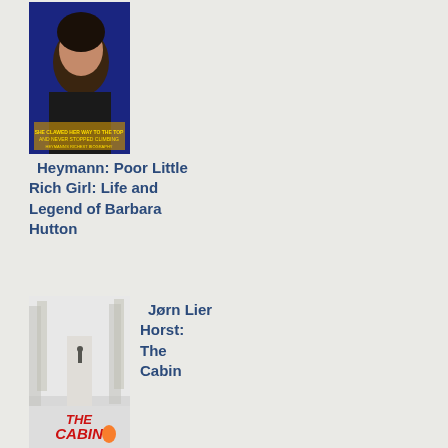[Figure (photo): Book cover of 'Poor Little Rich Girl: Life and Legend of Barbara Hutton' by Heymann, showing a woman's face on dark blue background]
Heymann: Poor Little Rich Girl: Life and Legend of Barbara Hutton
[Figure (photo): Book cover of 'The Cabin' by Jørn Lier Horst, showing a snowy winter scene with a figure in the distance, red title text]
Jørn Lier Horst: The Cabin
[Figure (photo): Book cover of 'The Katharina Code' by Jorn Lier Horst, showing a wintry forest scene with a figure]
Jorn Lier Horst: The